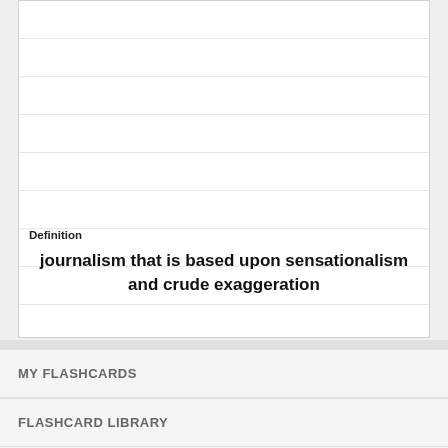Definition
journalism that is based upon sensationalism and crude exaggeration
MY FLASHCARDS
FLASHCARD LIBRARY